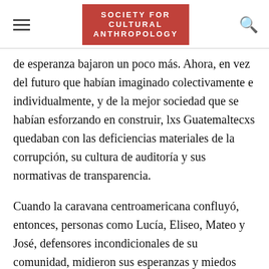SOCIETY FOR CULTURAL ANTHROPOLOGY
de esperanza bajaron un poco más. Ahora, en vez del futuro que habían imaginado colectivamente e individualmente, y de la mejor sociedad que se habían esforzando en construir, lxs Guatemaltecxs quedaban con las deficiencias materiales de la corrupción, su cultura de auditoría y sus normativas de transparencia.
Cuando la caravana centroamericana confluyó, entonces, personas como Lucía, Eliseo, Mateo y José, defensores incondicionales de su comunidad, midieron sus esperanzas y miedos frente a la oportunidad de unirse a ella. El entusiasmo generado